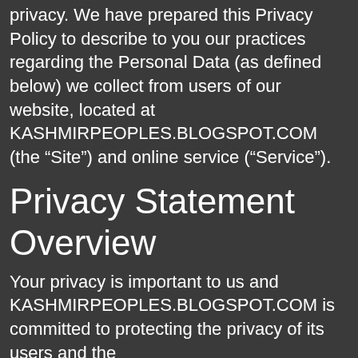privacy. We have prepared this Privacy Policy to describe to you our practices regarding the Personal Data (as defined below) we collect from users of our website, located at KASHMIRPEOPLES.BLOGSPOT.COM (the “Site”) and online service (“Service”).
Privacy Statement Overview
Your privacy is important to us and KASHMIRPEOPLES.BLOGSPOT.COM is committed to protecting the privacy of its users and the